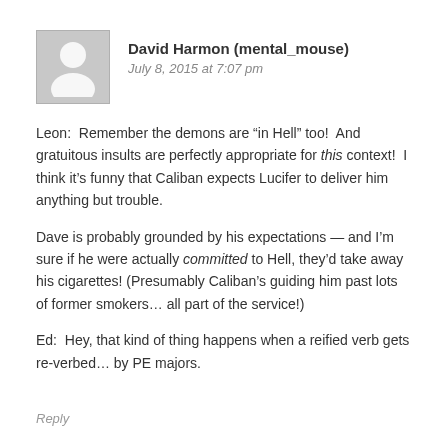David Harmon (mental_mouse)
July 8, 2015 at 7:07 pm
[Figure (illustration): Generic avatar silhouette of a person, gray background with white figure]
Leon:  Remember the demons are “in Hell” too!  And gratuitous insults are perfectly appropriate for this context!  I think it’s funny that Caliban expects Lucifer to deliver him anything but trouble.
Dave is probably grounded by his expectations — and I’m sure if he were actually committed to Hell, they’d take away his cigarettes! (Presumably Caliban’s guiding him past lots of former smokers… all part of the service!)
Ed:  Hey, that kind of thing happens when a reified verb gets re-verbed… by PE majors.
Reply